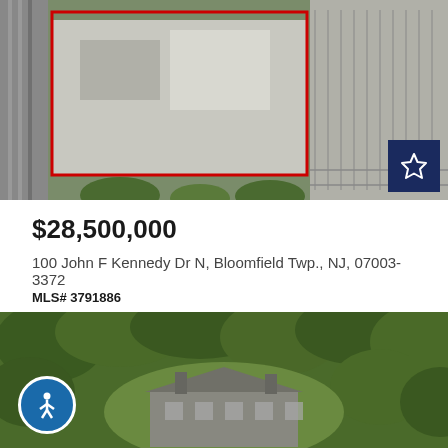[Figure (photo): Aerial satellite view of a commercial property with a large flat-roof building outlined in red, parking lot, and highway visible on the left. A dark navy star/bookmark button is in the bottom-right corner.]
$28,500,000
100 John F Kennedy Dr N, Bloomfield Twp., NJ, 07003-3372
MLS# 3791886
Courtesy of: BHGRE ELITE
[Figure (photo): Aerial view of a large estate home surrounded by dense green trees and landscaping, showing a stone or slate-roofed mansion with multiple chimneys. An accessibility icon button is visible in the bottom-left.]